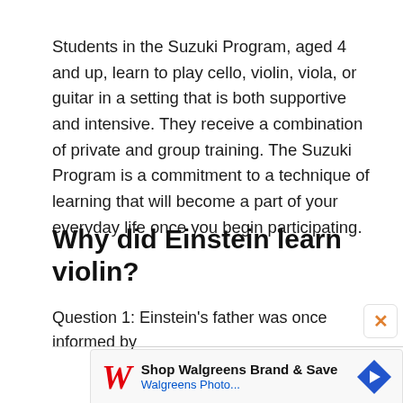Students in the Suzuki Program, aged 4 and up, learn to play cello, violin, viola, or guitar in a setting that is both supportive and intensive. They receive a combination of private and group training. The Suzuki Program is a commitment to a technique of learning that will become a part of your everyday life once you begin participating.
Why did Einstein learn violin?
Question 1: Einstein's father was once informed by
[Figure (other): Walgreens advertisement banner: Shop Walgreens Brand & Save, with Walgreens logo and navigation arrow]